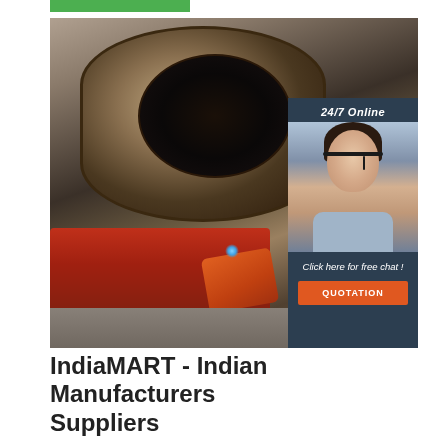[Figure (photo): Industrial large-diameter pipe being welded with orange welding equipment, sparks visible, red metal machinery frame in background, workshop floor setting. A live chat overlay box shows '24/7 Online' text, a female customer service agent with headset, 'Click here for free chat!' text, and an orange 'QUOTATION' button.]
IndiaMART - Indian Manufacturers Suppliers